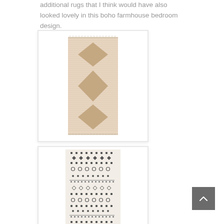additional rugs that I think would have also looked lovely in this boho farmhouse bedroom design.
[Figure (photo): A beige/tan diamond-pattern boho rug with fringe, displayed in a white frame/product photo on white background.]
[Figure (photo): A cream and dark grey geometric/tribal pattern boho rug, displayed in a white frame/product photo on white background, partially visible.]